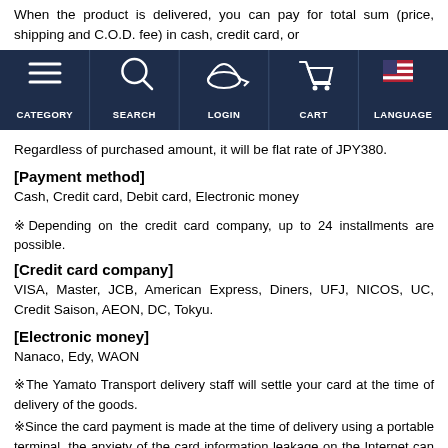When the product is delivered, you can pay for total sum (price, shipping and C.O.D. fee) in cash, credit card, or
[Figure (screenshot): Navigation bar with dark navy background containing 5 items: CATEGORY (hamburger menu icon), SEARCH (magnifying glass icon), LOGIN (cap icon), CART (shopping cart icon), LANGUAGE (US flag icon)]
Regardless of purchased amount, it will be flat rate of JPY380.
[Payment method]
Cash, Credit card, Debit card, Electronic money
※Depending on the credit card company, up to 24 installments are possible.
[Credit card company]
VISA, Master, JCB, American Express, Diners, UFJ, NICOS, UC, Credit Saison, AEON, DC, Tokyu.
[Electronic money]
Nanaco, Edy, WAON
※The Yamato Transport delivery staff will settle your card at the time of delivery of the goods.
※Since the card payment is made at the time of delivery using a portable terminal, the anxiety of the card information leakage on the Internet can dissolve and provides peace of mind.
※ The C.O.D. is not available for pitching machines or grand